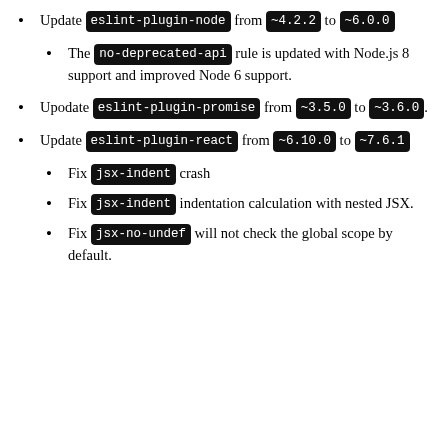Update eslint-plugin-node from ~4.2.2 to ~6.0.0
The no-deprecated-api rule is updated with Node.js 8 support and improved Node 6 support.
Upodate eslint-plugin-promise from ~3.5.0 to ~3.6.0.
Update eslint-plugin-react from ~6.10.0 to ~7.6.1
Fix jsx-indent crash
Fix jsx-indent indentation calculation with nested JSX.
Fix jsx-no-undef will not check the global scope by default.